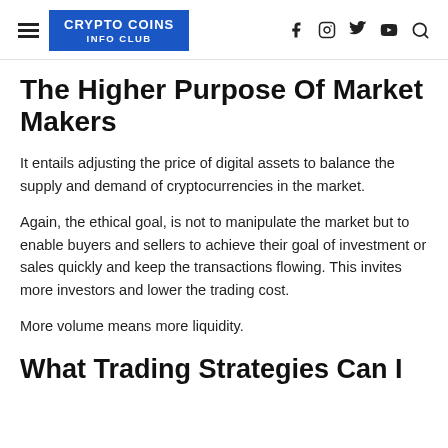CRYPTO COINS INFO CLUB
The Higher Purpose Of Market Makers
It entails adjusting the price of digital assets to balance the supply and demand of cryptocurrencies in the market.
Again, the ethical goal, is not to manipulate the market but to enable buyers and sellers to achieve their goal of investment or sales quickly and keep the transactions flowing. This invites more investors and lower the trading cost.
More volume means more liquidity.
What Trading Strategies Can I